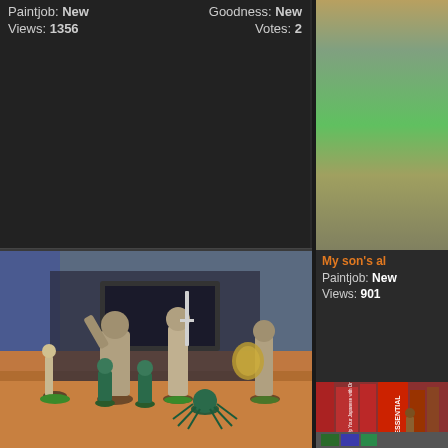Paintjob: New   Goodness: New
Views: 1356   Votes: 2
[Figure (photo): Partial photo visible at top right, appears to show a miniature or terrain piece with brownish/greenish tones]
My son's al
Paintjob: New
Views: 901
[Figure (photo): Photo of multiple unpainted and partially painted tabletop miniature figures including large ogre/giant creatures and smaller warrior figures on a wooden surface]
[Figure (photo): Photo of bookshelf with books including 'Jazz Up Your Japanese with Onomatopoeia' and 'Essential' (O'Reilly) books, with miniature figures in front]